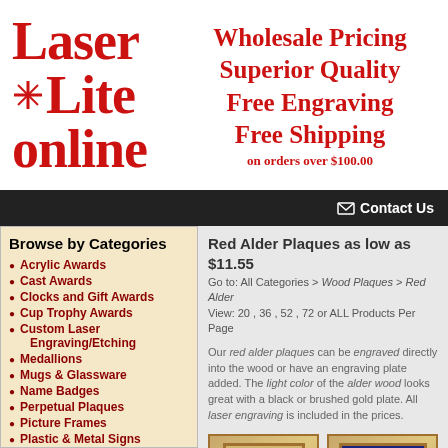[Figure (logo): Laser Lite online logo with red star/asterisk icon, red serif bold text on white background]
Wholesale Pricing
Superior Quality
Free Engraving
Free Shipping
on orders over $100.00
Contact Us
Browse by Categories
Acrylic Awards
Cast Awards
Clocks and Gift Awards
Cup Trophy Awards
Custom Laser Engraving/Etching
Medallions
Mugs & Glassware
Name Badges
Perpetual Plaques
Picture Frames
Plastic & Metal Signs
Resin Trophies
Ribbons
Silk Screened Apparel
Sport Ball Holders
Red Alder Plaques as low as $11.55
Go to: All Categories > Wood Plaques > Red Alder
View: 20 , 36 , 52 , 72 or ALL Products Per Page
Our red alder plaques can be engraved directly into the wood or have an engraving plate added. The light color of the alder wood looks great with a black or brushed gold plate. All laser engraving is included in the prices.
[Figure (photo): Wood plaque with photo insert showing a woman, labeled Sales Representative of the Month]
[Figure (photo): Wood plaque with dark blue insert showing The Phoenix Award text with gold star decoration]